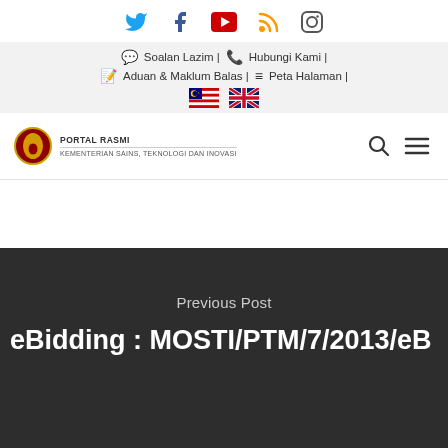[Figure (infographic): Social media icons: Twitter (blue bird), Facebook (f), YouTube (red play button), RSS (orange wave), Instagram (camera outline)]
Soalan Lazim | Hubungi Kami | Aduan & Maklum Balas | Peta Halaman |
[Figure (infographic): Malaysian flag and UK flag icons for language selection]
[Figure (logo): Portal Rasmi Kementerian Sains, Teknologi Dan Inovasi logo with Malaysian coat of arms emblem]
Previous Post
eBidding : MOSTI/PTM/7/2013/eB